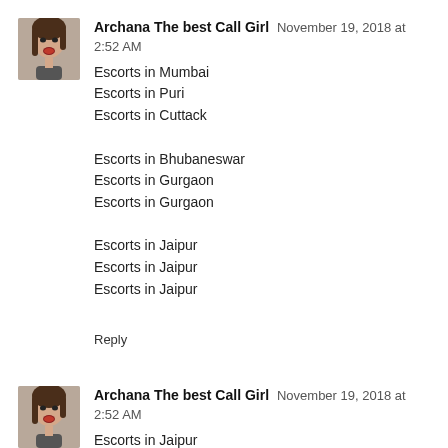[Figure (photo): Small avatar photo of a woman with mouth open]
Archana The best Call Girl  November 19, 2018 at 2:52 AM
Escorts in Mumbai
Escorts in Puri
Escorts in Cuttack

Escorts in Bhubaneswar
Escorts in Gurgaon
Escorts in Gurgaon

Escorts in Jaipur
Escorts in Jaipur
Escorts in Jaipur

Reply
[Figure (photo): Small avatar photo of a woman with mouth open]
Archana The best Call Girl  November 19, 2018 at 2:52 AM
Escorts in Jaipur
Escorts in Mumbai
Escorts in Bangalore

Reply